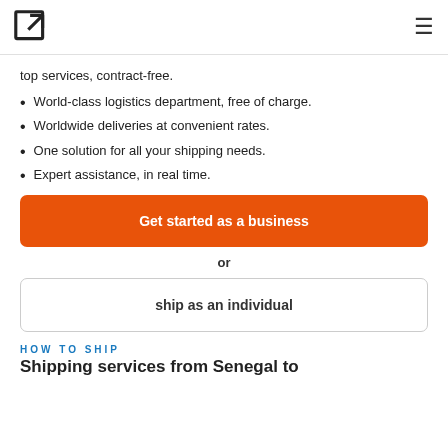[logo icon] [hamburger menu]
top services, contract-free.
World-class logistics department, free of charge.
Worldwide deliveries at convenient rates.
One solution for all your shipping needs.
Expert assistance, in real time.
Get started as a business
or
ship as an individual
HOW TO SHIP
Shipping services from Senegal to